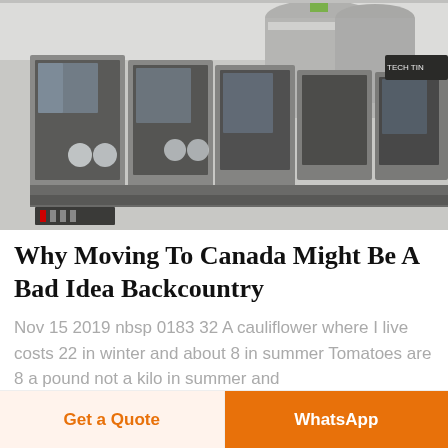[Figure (photo): Industrial food processing or canning machinery — stainless steel tanks, bottling/filling lines, glass-panel enclosures, conveyor equipment in a factory setting]
Why Moving To Canada Might Be A Bad Idea Backcountry
Nov 15 2019 nbsp 0183 32 A cauliflower where I live costs 22 in winter and about 8 in summer Tomatoes are 8 a pound not a kilo in summer and
Get a Quote
WhatsApp